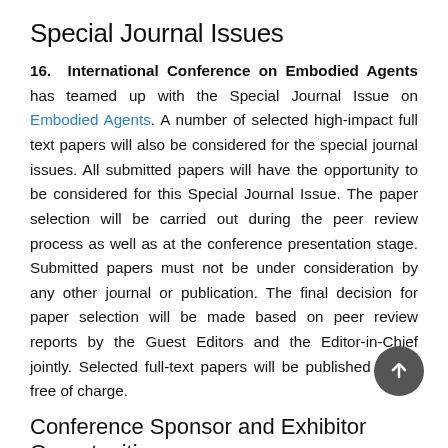Special Journal Issues
16. International Conference on Embodied Agents has teamed up with the Special Journal Issue on Embodied Agents. A number of selected high-impact full text papers will also be considered for the special journal issues. All submitted papers will have the opportunity to be considered for this Special Journal Issue. The paper selection will be carried out during the peer review process as well as at the conference presentation stage. Submitted papers must not be under consideration by any other journal or publication. The final decision for paper selection will be made based on peer review reports by the Guest Editors and the Editor-in-Chief jointly. Selected full-text papers will be published online free of charge.
Conference Sponsor and Exhibitor Opportunities